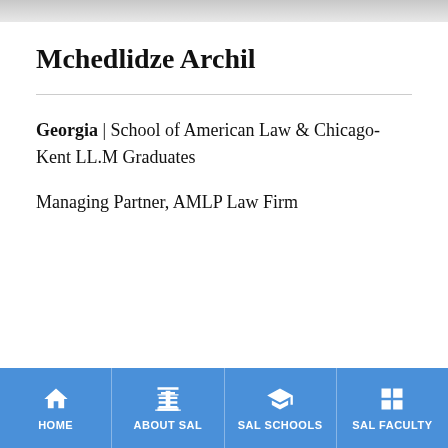[Figure (screenshot): Top grey image strip at the top of the page]
Mchedlidze Archil
Georgia | School of American Law & Chicago-Kent LL.M Graduates
Managing Partner, AMLP Law Firm
HOME | ABOUT SAL | SAL SCHOOLS | SAL FACULTY